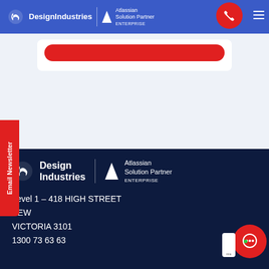Design Industries | Atlassian Solution Partner Enterprise
[Figure (screenshot): Web form with red rounded submit button on light blue-grey background]
Email Newsletter
[Figure (logo): Design Industries logo with Atlassian Solution Partner Enterprise badge in white on dark navy footer]
Level 1 – 418 HIGH STREET
KEW
VICTORIA 3101
1300 73 63 63